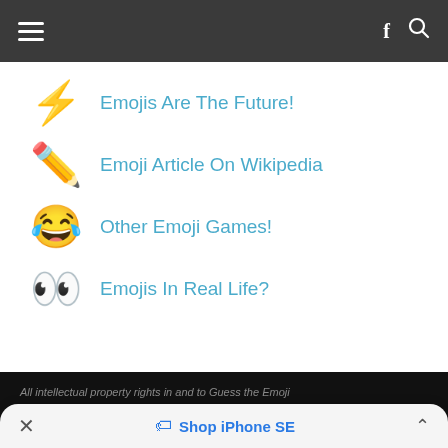≡   f 🔍
⚡ Emojis Are The Future!
✏️ Emoji Article On Wikipedia
😂 Other Emoji Games!
👀 Emojis In Real Life?
All intellectual property rights in and to Guess the Emoji
✕  🏷 Shop iPhone SE  ∧